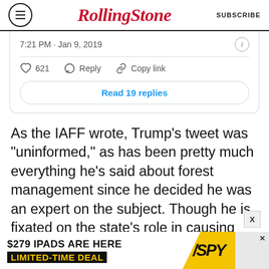Rolling Stone | SUBSCRIBE
[Figure (screenshot): Tweet interaction bar showing: 7:21 PM · Jan 9, 2019, info icon, heart icon 621, Reply, Copy link, Read 19 replies button]
As the IAFF wrote, Trump’s tweet was “uninformed,” as has been pretty much everything he’s said about forest management since he decided he was an expert on the subject. Though he is fixated on the state’s role in causing forest fires, the federal government owns the majority of forested land in California. The Camp and Woolsey fires that destroyed hundreds of
[Figure (screenshot): Ad banner: $279 IPADS ARE HERE LIMITED-TIME DEAL with SPY logo]